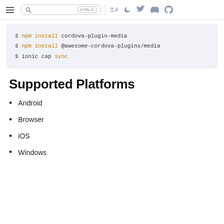Navigation bar with hamburger menu, search box, and icons
$ npm install cordova-plugin-media
$ npm install @awesome-cordova-plugins/media
$ ionic cap sync
Supported Platforms
Android
Browser
iOS
Windows